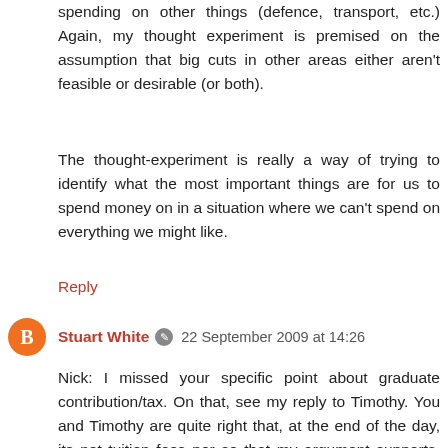spending on other things (defence, transport, etc.) Again, my thought experiment is premised on the assumption that big cuts in other areas either aren't feasible or desirable (or both).
The thought-experiment is really a way of trying to identify what the most important things are for us to spend money on in a situation where we can't spend on everything we might like.
Reply
Stuart White  22 September 2009 at 14:26
Nick: I missed your specific point about graduate contribution/tax. On that, see my reply to Timothy. You and Timothy are quite right that, at the end of the day, its not tuition fees per se that my argument supports, but a reduction in higher education subsidy - and, for all I know, that might be better accomplished through a graduate tax.
Reply